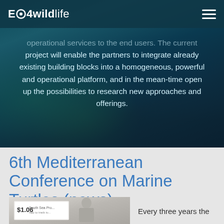EO4wildlife
operational services to the end users. The current project will enable the partners to integrate already existing building blocks into a homogeneous, powerful and operational platform, and in the mean-time open up the possibilities to research new approaches and offerings.
6th Mediterranean Conference on Marine Turtles (news)
[Figure (photo): Photo of a person presenting at a conference, with a presentation slide showing '$1.06' visible]
Every three years the